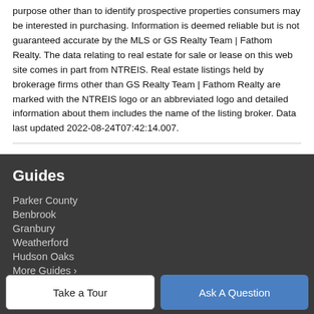purpose other than to identify prospective properties consumers may be interested in purchasing. Information is deemed reliable but is not guaranteed accurate by the MLS or GS Realty Team | Fathom Realty. The data relating to real estate for sale or lease on this web site comes in part from NTREIS. Real estate listings held by brokerage firms other than GS Realty Team | Fathom Realty are marked with the NTREIS logo or an abbreviated logo and detailed information about them includes the name of the listing broker. Data last updated 2022-08-24T07:42:14.007.
Guides
Parker County
Benbrook
Granbury
Weatherford
Hudson Oaks
More Guides >